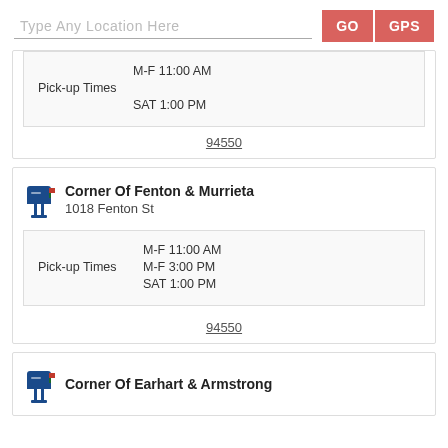Type Any Location Here
GO
GPS
Pick-up Times  M-F 11:00 AM  SAT 1:00 PM
94550
Corner Of Fenton & Murrieta
1018 Fenton St
Pick-up Times  M-F 11:00 AM  M-F 3:00 PM  SAT 1:00 PM
94550
Corner Of Earhart & Armstrong